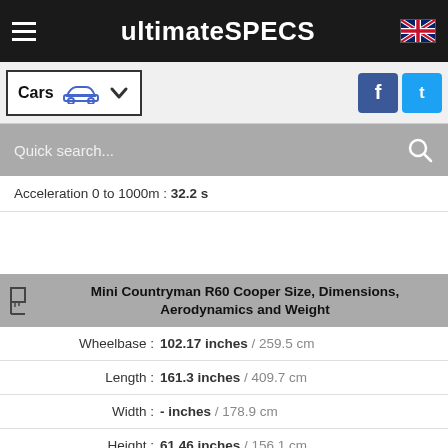ultimateSPECS
Cars
Quick search...
Acceleration 0 to 1000m : 32.2 s
Mini Countryman R60 Cooper Size, Dimensions, Aerodynamics and Weight
| Property | Value |
| --- | --- |
| Wheelbase : | 102.17 inches / 259.5 cm |
| Length : | 161.3 inches / 409.7 cm |
| Width : | - inches / 178.9 cm |
| Height : | 61.46 inches / 156.1 cm |
| Aerodynamic drag coefficient - Cx : | 0.36 |